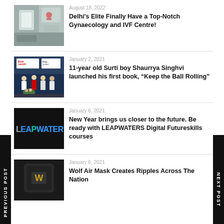[Figure (photo): Interior photo of a medical/IVF clinic reception area]
August 18, 2022
Delhi's Elite Finally Have a Top-Notch Gynaecology and IVF Centre!
[Figure (photo): Book launch event photo with people on stage, banner reading 'Book Launch' and 'Keep the Ball']
January 2, 2021
11-year old Surti boy Shaurrya Singhvi launched his first book, “Keep the Ball Rolling”
[Figure (logo): LEAPWATER logo on dark background]
January 6, 2021
New Year brings us closer to the future. Be ready with LEAPWATERS Digital Futureskills courses
[Figure (photo): Wolf Air Mask product on dark background with W logo]
January 6, 2021
Wolf Air Mask Creates Ripples Across The Nation
PREVIOUS POST
NEXT POST